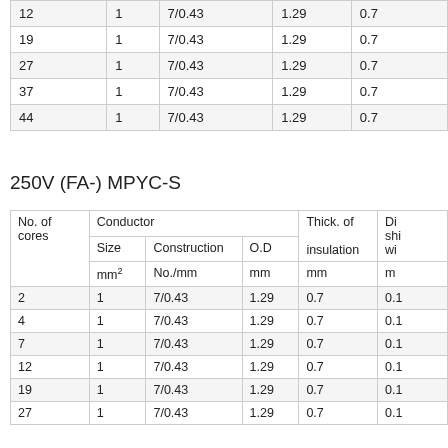| 12 | 1 | 7/0.43 | 1.29 | 0.7 |
| 19 | 1 | 7/0.43 | 1.29 | 0.7 |
| 27 | 1 | 7/0.43 | 1.29 | 0.7 |
| 37 | 1 | 7/0.43 | 1.29 | 0.7 |
| 44 | 1 | 7/0.43 | 1.29 | 0.7 |
250V (FA-) MPYC-S
| No. of cores | Size mm² | Construction No./mm | O.D mm | Thick. of insulation mm | Di... shi... wi... mm |
| --- | --- | --- | --- | --- | --- |
| 2 | 1 | 7/0.43 | 1.29 | 0.7 | 0.1 |
| 4 | 1 | 7/0.43 | 1.29 | 0.7 | 0.1 |
| 7 | 1 | 7/0.43 | 1.29 | 0.7 | 0.1 |
| 12 | 1 | 7/0.43 | 1.29 | 0.7 | 0.1 |
| 19 | 1 | 7/0.43 | 1.29 | 0.7 | 0.1 |
| 27 | 1 | 7/0.43 | 1.29 | 0.7 | 0.1 |